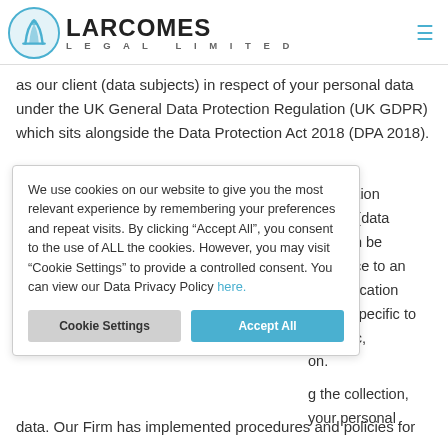[Figure (logo): Larcomes Legal Limited logo with circular emblem and company name]
as our client (data subjects) in respect of your personal data under the UK General Data Protection Regulation (UK GDPR) which sits alongside the Data Protection Act 2018 (DPA 2018).
We use cookies on our website to give you the most relevant experience by remembering your preferences and repeat visits. By clicking “Accept All”, you consent to the use of ALL the cookies. However, you may visit “Cookie Settings” to provide a controlled consent. You can view our Data Privacy Policy here.
information person (data who can be reference to an mber, location actors specific to conomic, on.
g the collection, your personal data. Our Firm has implemented procedures and policies for